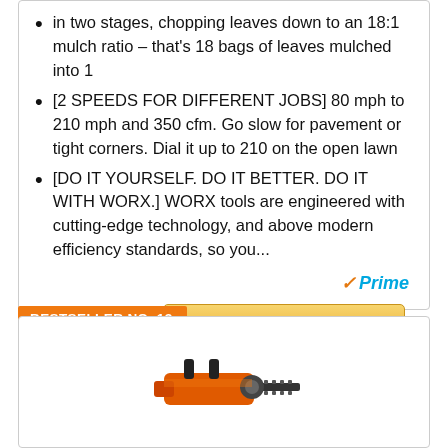in two stages, chopping leaves down to an 18:1 mulch ratio – that's 18 bags of leaves mulched into 1
[2 SPEEDS FOR DIFFERENT JOBS] 80 mph to 210 mph and 350 cfm. Go slow for pavement or tight corners. Dial it up to 210 on the open lawn
[DO IT YOURSELF. DO IT BETTER. DO IT WITH WORX.] WORX tools are engineered with cutting-edge technology, and above modern efficiency standards, so you...
[Figure (logo): Amazon Prime logo]
Check on Amazon
BESTSELLER NO. 13
[Figure (photo): Chainsaw product image at bottom of page]